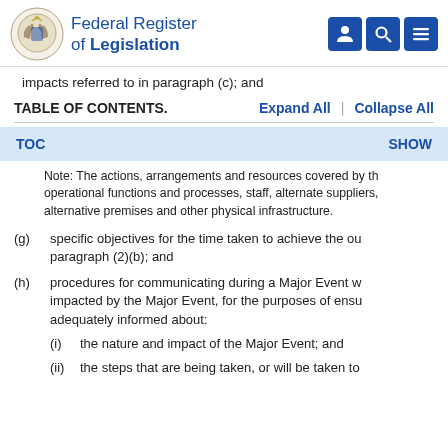Federal Register of Legislation
impacts referred to in paragraph (c); and
TABLE OF CONTENTS.   Expand All | Collapse All
TOC   SHOW
Note: The actions, arrangements and resources covered by the operational functions and processes, staff, alternate suppliers, alternative premises and other physical infrastructure.
(g) specific objectives for the time taken to achieve the outcomes referred to in paragraph (2)(b); and
(h) procedures for communicating during a Major Event with those impacted by the Major Event, for the purposes of ensuring they are adequately informed about:
(i) the nature and impact of the Major Event; and
(ii) the steps that are being taken, or will be taken to